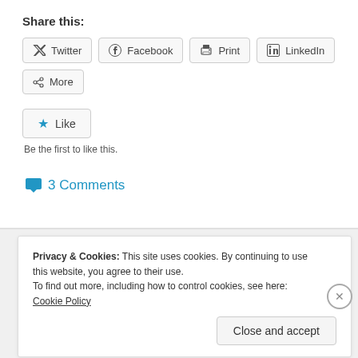Share this:
Twitter  Facebook  Print  LinkedIn  More
Like  Be the first to like this.
3 Comments
Privacy & Cookies: This site uses cookies. By continuing to use this website, you agree to their use.
To find out more, including how to control cookies, see here: Cookie Policy
Close and accept